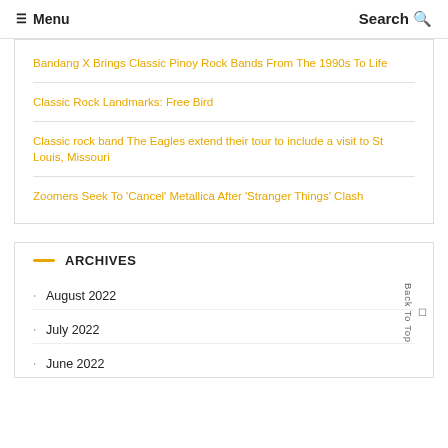☰ Menu   Search 🔍
Bandang X Brings Classic Pinoy Rock Bands From The 1990s To Life
Classic Rock Landmarks: Free Bird
Classic rock band The Eagles extend their tour to include a visit to St Louis, Missouri
Zoomers Seek To 'Cancel' Metallica After 'Stranger Things' Clash
ARCHIVES
August 2022
July 2022
June 2022